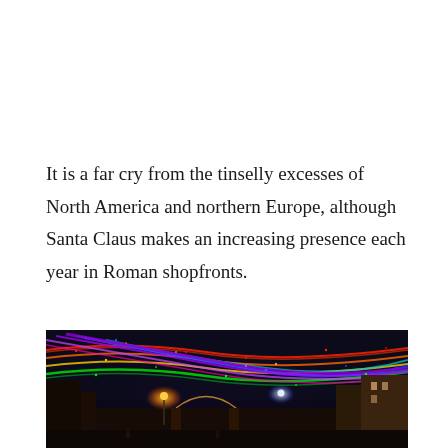It is a far cry from the tinselly excesses of North America and northern Europe, although Santa Claus makes an increasing presence each year in Roman shopfronts.
[Figure (photo): Night photograph of colorful Christmas fairy lights strung above a historic Roman street, showing cascading multicolored LED strings (red, green, blue, purple, rainbow colors) suspended between buildings, with warm street lamps visible below and classical architecture on either side.]